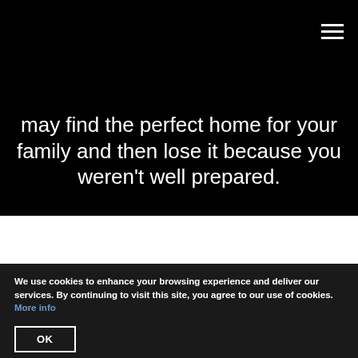[Figure (screenshot): Hamburger/menu icon (three horizontal white lines) in top-right corner on black background]
may find the perfect home for your family and then lose it because you weren't well prepared.
We use cookies to enhance your browsing experience and deliver our services. By continuing to visit this site, you agree to our use of cookies. More info
OK